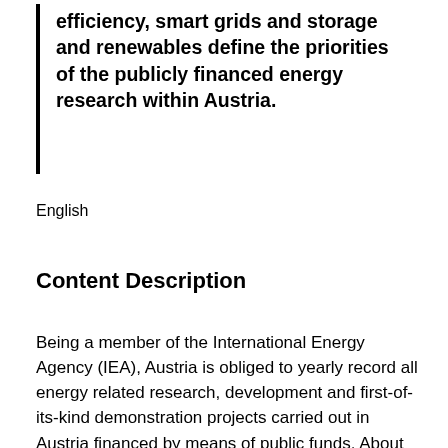efficiency, smart grids and storage and renewables define the priorities of the publicly financed energy research within Austria.
English
Content Description
Being a member of the International Energy Agency (IEA), Austria is obliged to yearly record all energy related research, development and first-of-its-kind demonstration projects carried out in Austria financed by means of public funds. About 1,100 projects and activities have been registered and